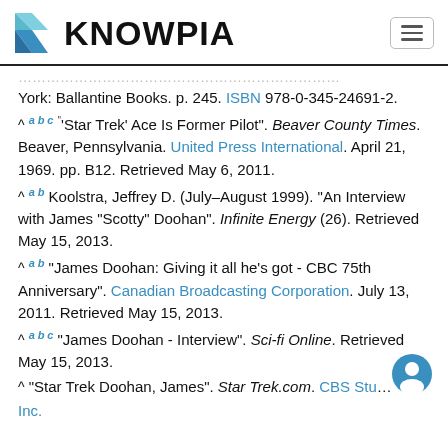KNOWPIA
York: Ballantine Books. p. 245. ISBN 978-0-345-24691-2.
^ a b c "'Star Trek' Ace Is Former Pilot". Beaver County Times. Beaver, Pennsylvania. United Press International. April 21, 1969. pp. B12. Retrieved May 6, 2011.
^ a b Koolstra, Jeffrey D. (July–August 1999). "An Interview with James "Scotty" Doohan". Infinite Energy (26). Retrieved May 15, 2013.
^ a b "James Doohan: Giving it all he's got - CBC 75th Anniversary". Canadian Broadcasting Corporation. July 13, 2011. Retrieved May 15, 2013.
^ a b c "James Doohan - Interview". Sci-fi Online. Retrieved May 15, 2013.
^ "Star Trek Doohan, James". Star Trek.com. CBS Studios Inc.